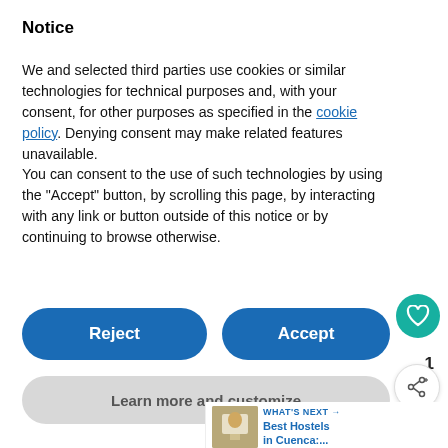Notice
We and selected third parties use cookies or similar technologies for technical purposes and, with your consent, for other purposes as specified in the cookie policy. Denying consent may make related features unavailable.
You can consent to the use of such technologies by using the "Accept" button, by scrolling this page, by interacting with any link or button outside of this notice or by continuing to browse otherwise.
[Figure (screenshot): Cookie consent dialog with Reject and Accept buttons, Learn more and customize button, heart icon, share icon, count badge '1', and partial website content below including a teal progress bar, consent checkbox row, and advertisement banner reading 'We stand with you.']